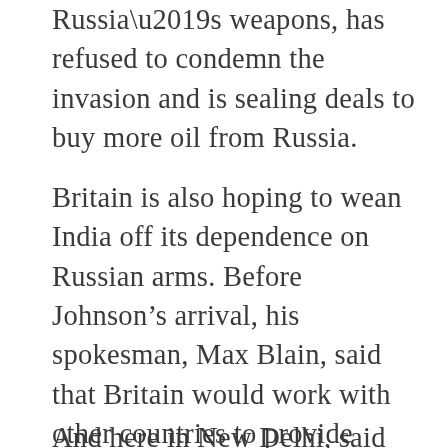Russia’s weapons, has refused to condemn the invasion and is sealing deals to buy more oil from Russia.
Britain is also hoping to wean India off its dependence on Russian arms. Before Johnson’s arrival, his spokesman, Max Blain, said that Britain would work with other countries to provide alternative options for defense procurements and energy for India but not “lecture other democratically elected governments on what course of action was best for them.”
And here in New Delhi, said that India’s